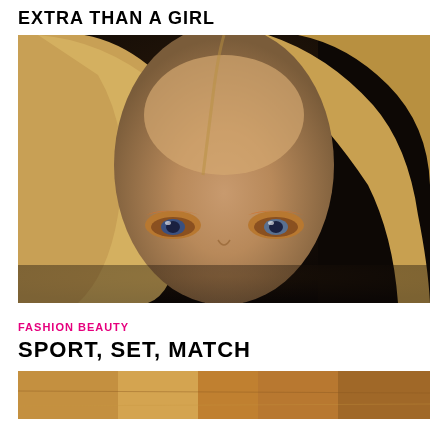EXTRA THAN A GIRL
[Figure (photo): Close-up portrait of a blonde woman with blue eyes and orange eyeshadow, looking directly at camera, against dark background]
FASHION BEAUTY
SPORT, SET, MATCH
[Figure (photo): Bottom partial photo showing warm tones, partially cropped at page edge]